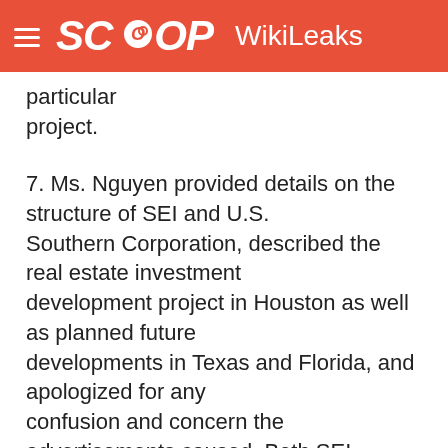SCOOP WikiLeaks
particular project.
7. Ms. Nguyen provided details on the structure of SEI and U.S. Southern Corporation, described the real estate investment development project in Houston as well as planned future developments in Texas and Florida, and apologized for any confusion and concern the advertisements caused. Both SEI officials promised to clarify the statements made in